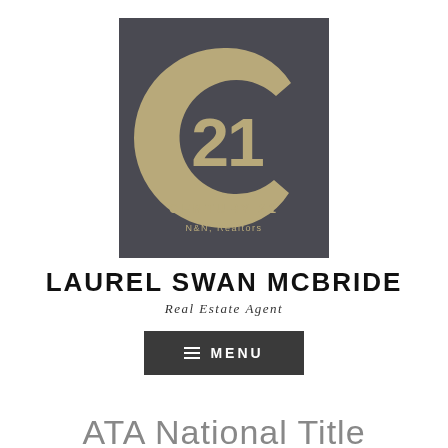[Figure (logo): Century 21 N&N Realtors logo on dark gray background with gold C and 21]
LAUREL SWAN MCBRIDE
Real Estate Agent
[Figure (screenshot): Dark gray menu button with hamburger icon and MENU text]
ATA National Title